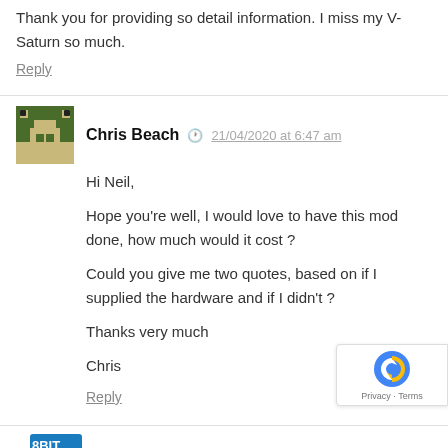Thank you for providing so detail information. I miss my V-Saturn so much.
Reply
Chris Beach  21/04/2020 at 6:47 am
Hi Neil,

Hope you're well, I would love to have this mod done, how much would it cost ?

Could you give me two quotes, based on if I supplied the hardware and if I didn't ?

Thanks very much

Chris
Reply
8bitplus  21/04/2020 at 10:22 am
Hi. You need to send an email, I never discuss quotes in the comments.
Reply